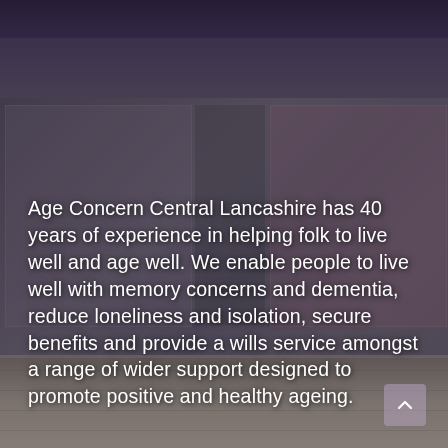[Figure (photo): Blurred photograph of a retail shop frontage with large glass windows and door, purple/dark fascia strip at top, and a paved pedestrian area in the foreground. The image is heavily blurred/defocused.]
Age Concern Central Lancashire has 40 years of experience in helping folk to live well and age well. We enable people to live well with memory concerns and dementia, reduce loneliness and isolation, secure benefits and provide a wills service amongst a range of wider support designed to promote positive and healthy ageing.